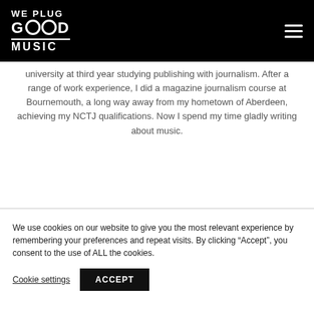WE PLUG GOOD MUSIC
university at third year studying publishing with journalism. After a range of work experience, I did a magazine journalism course at Bournemouth, a long way away from my hometown of Aberdeen, achieving my NCTJ qualifications. Now I spend my time gladly writing about music.
We use cookies on our website to give you the most relevant experience by remembering your preferences and repeat visits. By clicking “Accept”, you consent to the use of ALL the cookies.